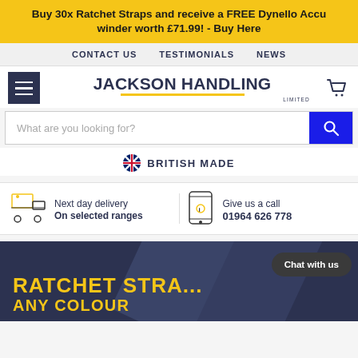Buy 30x Ratchet Straps and receive a FREE Dynello Accu winder worth £71.99! - Buy Here
CONTACT US   TESTIMONIALS   NEWS
JACKSON HANDLING LIMITED
What are you looking for?
BRITISH MADE
Next day delivery
On selected ranges
Give us a call
01964 626 778
[Figure (screenshot): Hero banner showing 'RATCHET STRA... ANY COLOUR' text in yellow on dark navy background with diagonal design element and chat bubble overlay]
Chat with us
RATCHET STRA...
ANY COLOUR